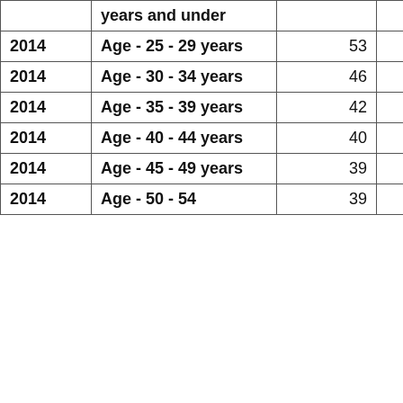| Year | Age Group | Col3 | Col4 |
| --- | --- | --- | --- |
|  | years and under |  |  |
| 2014 | Age - 25 - 29 years | 53 | 3 |
| 2014 | Age - 30 - 34 years | 46 | 3 |
| 2014 | Age - 35 - 39 years | 42 | 3 |
| 2014 | Age - 40 - 44 years | 40 | 3 |
| 2014 | Age - 45 - 49 years | 39 | 3 |
| 2014 | Age - 50 - 54 | 39 | 3 |